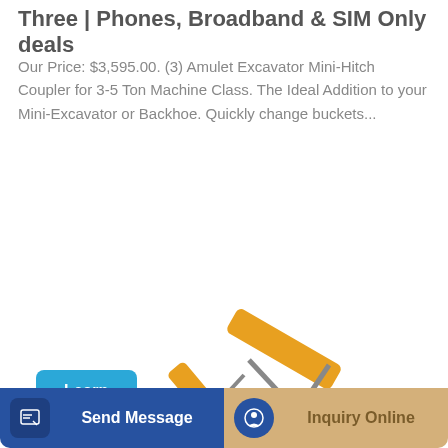Three | Phones, Broadband & SIM Only deals
Our Price: $3,595.00. (3) Amulet Excavator Mini-Hitch Coupler for 3-5 Ton Machine Class. The Ideal Addition to your Mini-Excavator or Backhoe. Quickly change buckets...
[Figure (other): Blue 'Learn More' button]
[Figure (photo): Yellow mini excavator (XCMG brand) with bucket attachment on white background]
[Figure (other): Bottom bar with two buttons: 'Send Message' (blue) and 'Inquiry Online' (tan/gold)]